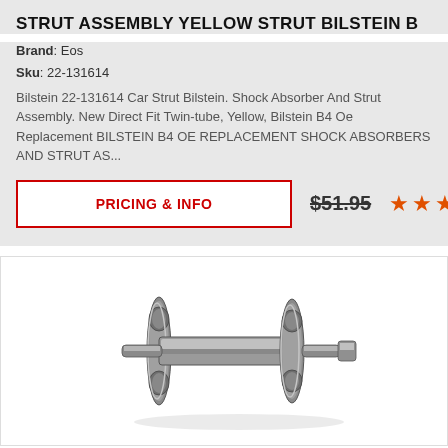STRUT ASSEMBLY YELLOW STRUT BILSTEIN B
Brand: Eos
Sku: 22-131614
Bilstein 22-131614 Car Strut Bilstein. Shock Absorber And Strut Assembly. New Direct Fit Twin-tube, Yellow, Bilstein B4 Oe Replacement BILSTEIN B4 OE REPLACEMENT SHOCK ABSORBERS AND STRUT AS...
PRICING & INFO
$51.95
[Figure (photo): Strut assembly mechanical component — metallic cylindrical double-flanged hub/bearing assembly shown horizontally]